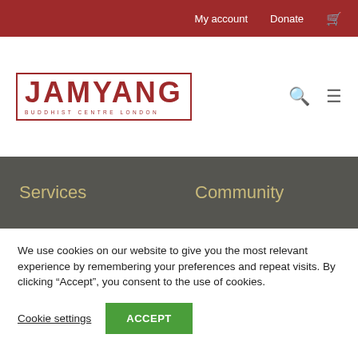My account   Donate   🛒
[Figure (logo): JAMYANG Buddhist Centre London logo in dark red/maroon with rectangular border]
Services
Community
We use cookies on our website to give you the most relevant experience by remembering your preferences and repeat visits. By clicking “Accept”, you consent to the use of cookies.
Cookie settings   ACCEPT